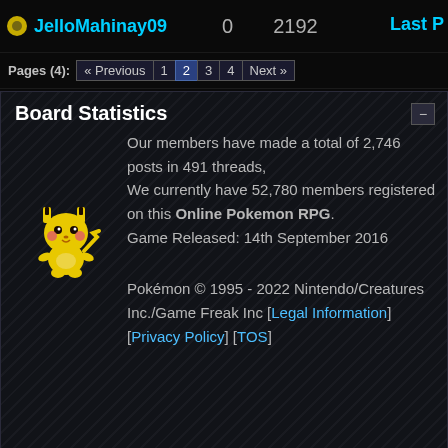JelloMahinay09   0   2192   Last P
Pages (4): « Previous  1  2  3  4  Next »
Board Statistics
Our members have made a total of 2,746 posts in 491 threads, We currently have 52,780 members registered on this Online Pokemon RPG. Game Released: 14th September 2016
Pokémon © 1995 - 2022 Nintendo/Creatures Inc./Game Freak Inc [Legal Information] [Privacy Policy] [TOS]
Advertising...